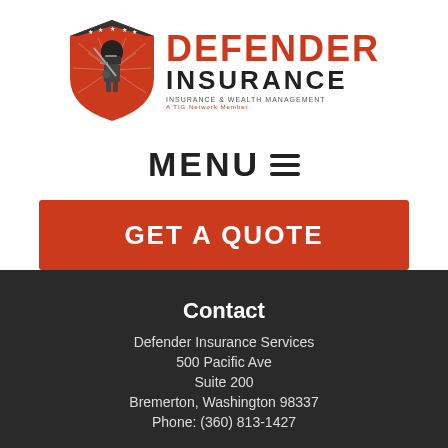[Figure (logo): Defender Insurance logo with knight in shield and text: DEFENDER INSURANCE, Insurance & Wealth Management, A TIG Network Member]
MENU ≡
GET A QUOTE
Contact
Defender Insurance Services
500 Pacific Ave
Suite 200
Bremerton, Washington 98337
Phone: (360) 813-1427